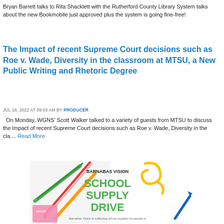Bryan Barrett talks to Rita Shacklett with the Rutherford County Library System talks about the new Bookmobile just approved plus the system is going fine-free!
The Impact of recent Supreme Court decisions such as Roe v. Wade, Diversity in the classroom at MTSU, a New Public Writing and Rhetoric Degree
JUL 18, 2022 AT 09:03 AM BY PRODUCER
On Monday, WGNS’ Scott Walker talked to a variety of guests from MTSU to discuss the Impact of recent Supreme Court decisions such as Roe v. Wade, Diversity in the cla.... Read More
[Figure (illustration): Barnabas Vision School Supply Drive promotional banner with colorful pencils and school supplies]